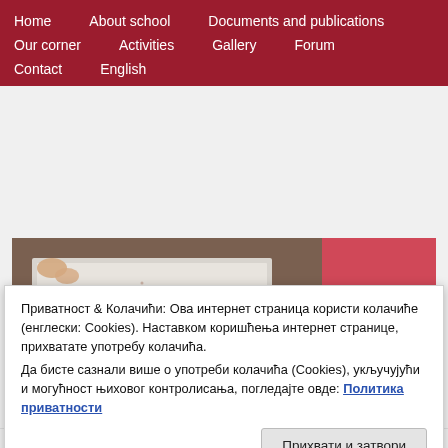Home | About school | Documents and publications | Our corner | Activities | Gallery | Forum | Contact | English
[Figure (photo): Children painting at a table, a girl in a pink shirt visible on the right side working on a canvas]
— Painters at work
Приватност & Колачићи: Ова интернет страница користи колачиће (енглески: Cookies). Наставком коришћења интернет странице, прихватате употребу колачића.
Да бисте сазнали више о употреби колачића (Cookies), укључујући и могућност њиховог контролисања, погледајте овде: Политика приватности
Прихвати и затвори
and painting of the sea.